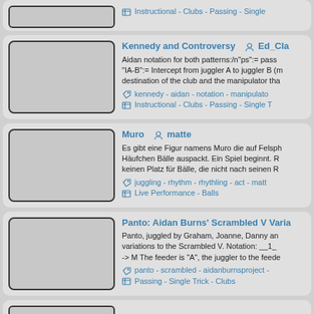[Figure (screenshot): Partial top card with thumbnail placeholder and category tags: Instructional - Clubs - Passing - Single]
[Figure (screenshot): Card: Kennedy and Controversy by Ed_Cla. Aidan notation for both patterns. Tags: kennedy, aidan, notation, manipulator. Category: Instructional - Clubs - Passing - Single]
[Figure (screenshot): Card: Muro by matte. German description about Muro figure on rock. Tags: juggling, rhythm, rhythling, act, matt. Category: Live Performance - Balls]
[Figure (screenshot): Card: Panto: Aidan Burns' Scrambled V Varia... by unknown. Panto juggled by Graham, Joanne, Danny. Tags: panto, scrambled, aidanburnsproject. Category: Passing - Single Trick - Clubs]
[Figure (screenshot): Partial bottom card visible at page bottom]